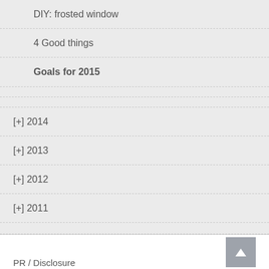DIY: frosted window
4 Good things
Goals for 2015
[+] 2014
[+] 2013
[+] 2012
[+] 2011
PR / Disclosure
Cookie Policy